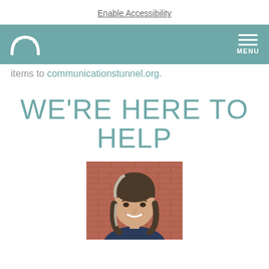Enable Accessibility
Navigation bar with arc/bridge logo and MENU button
items to communicationstunnel.org.
WE'RE HERE TO HELP
[Figure (photo): Headshot of a woman with shoulder-length dark hair with gray highlights, smiling, in front of a brick wall background]